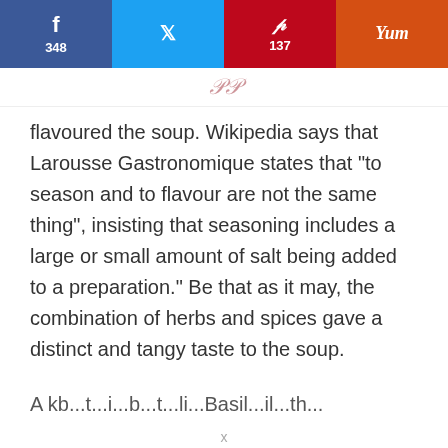f 348 | Twitter | p 137 | Yum
flavoured the soup. Wikipedia says that Larousse Gastronomique states that "to season and to flavour are not the same thing", insisting that seasoning includes a large or small amount of salt being added to a preparation." Be that as it may, the combination of herbs and spices gave a distinct and tangy taste to the soup.
A kb...t...i...b...t...li...Basil...il...th...